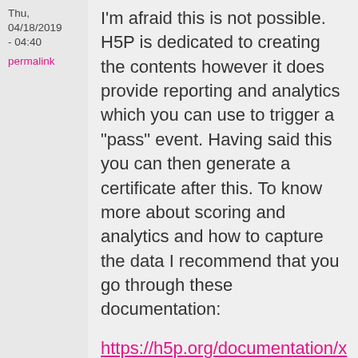Thu, 04/18/2019 - 04:40
permalink
I'm afraid this is not possible. H5P is dedicated to creating the contents however it does provide reporting and analytics which you can use to trigger a "pass" event. Having said this you can then generate a certificate after this. To know more about scoring and analytics and how to capture the data I recommend that you go through these documentation:
https://h5p.org/documentation/x-api
https://h5p.org/documentation/for-authors/analyzing-results-and-